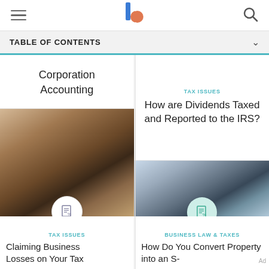TABLE OF CONTENTS
Corporation Accounting
[Figure (photo): Man sitting at outdoor table reading documents and papers]
TAX ISSUES
Claiming Business Losses on Your Tax
TAX ISSUES
How are Dividends Taxed and Reported to the IRS?
[Figure (photo): Professional woman in blazer working at laptop in bright office]
BUSINESS LAW & TAXES
How Do You Convert Property into an S-